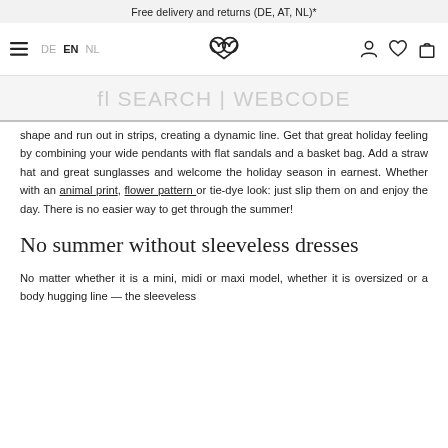Free delivery and returns (DE, AT, NL)*
≡  DE  EN  NL  [logo]  [account] [wishlist] [cart]
fl SEARCH | WEBCODE
shape and run out in strips, creating a dynamic line. Get that great holiday feeling by combining your wide pendants with flat sandals and a basket bag. Add a straw hat and great sunglasses and welcome the holiday season in earnest. Whether with an animal print, flower pattern or tie-dye look: just slip them on and enjoy the day. There is no easier way to get through the summer!
No summer without sleeveless dresses
No matter whether it is a mini, midi or maxi model, whether it is oversized or a body hugging line — the sleeveless